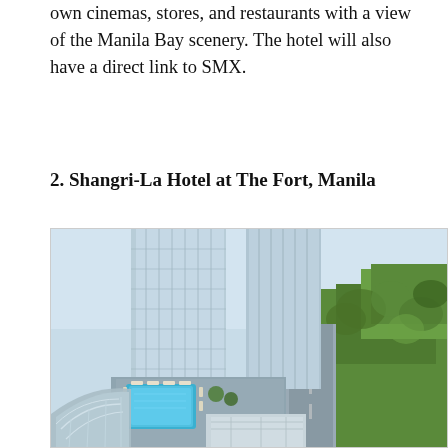own cinemas, stores, and restaurants with a view of the Manila Bay scenery. The hotel will also have a direct link to SMX.
2. Shangri-La Hotel at The Fort, Manila
[Figure (photo): Aerial view of Shangri-La Hotel at The Fort, Manila, showing two tall glass towers, a rooftop pool area with lounge chairs, a curved glass atrium structure at lower levels, roads, and green trees to the right.]